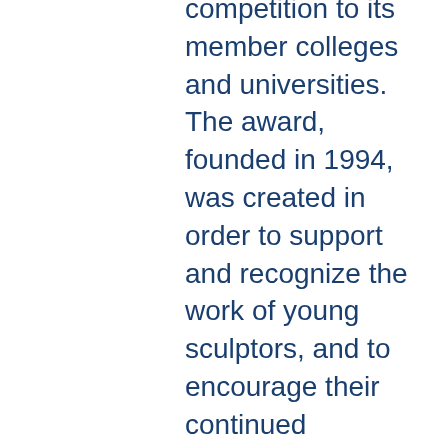competition to its member colleges and universities. The award, founded in 1994, was created in order to support and recognize the work of young sculptors, and to encourage their continued commitment to the field of sculpture as well as to recognize the award winners' faculty sponsors and their institutions.